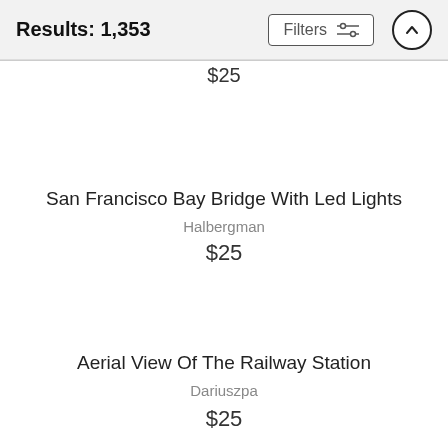Results: 1,353
$25
San Francisco Bay Bridge With Led Lights
Halbergman
$25
Aerial View Of The Railway Station
Dariuszpa
$25